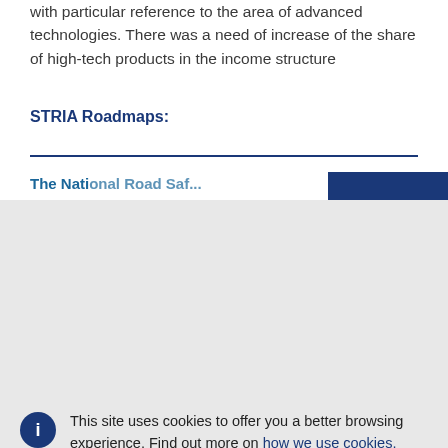with particular reference to the area of advanced technologies. There was a need of increase of the share of high-tech products in the income structure
STRIA Roadmaps:
This site uses cookies to offer you a better browsing experience. Find out more on how we use cookies.
Accept all cookies
Accept only essential cookies